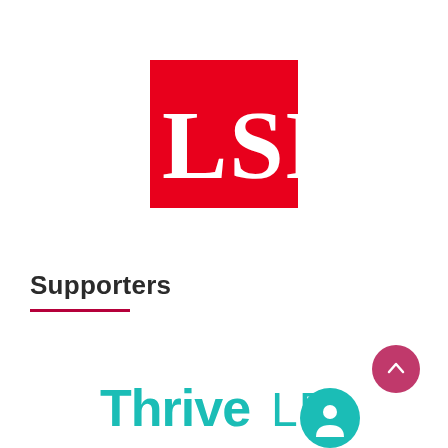[Figure (logo): LSE (London School of Economics) logo — red square background with white 'LSE' text in serif font]
Supporters
[Figure (logo): ThriveLDN logo in teal/cyan color, with 'Thrive' in bold rounded font and 'LDN' in lighter weight. Accompanied by teal user-icon circle and pink/magenta scroll-up arrow button.]